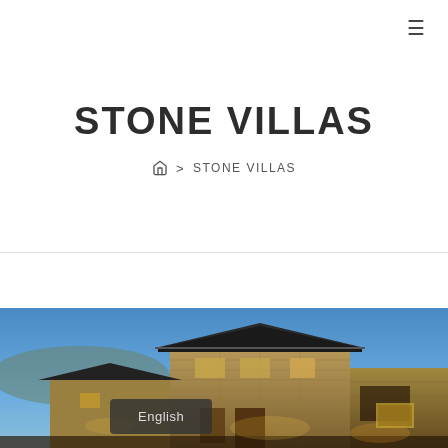≡
STONE VILLAS
🏠 > STONE VILLAS
[Figure (photo): Exterior photo of stone villa buildings at dusk/evening with warm lighting on stone walls, blue sky background, and Chinese architectural roof elements.]
English